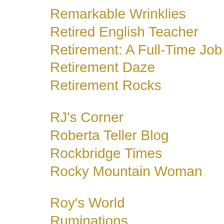Remarkable Wrinklies
Retired English Teacher
Retirement: A Full-Time Job
Retirement Daze
Retirement Rocks
RJ's Corner
Roberta Teller Blog
Rockbridge Times
Rocky Mountain Woman
Roy's World
Ruminations
A Runnah's Story
Sacred Ordinary
Santiago Dreaming